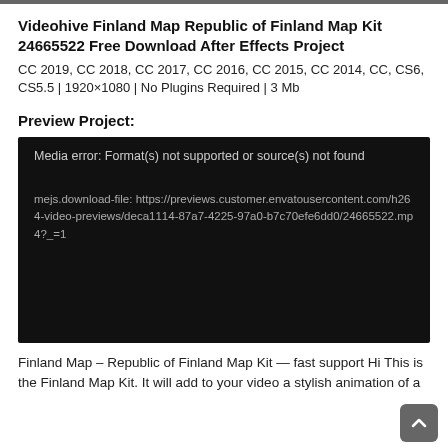[Figure (screenshot): Top edge of a dark image/banner, partially cropped]
Videohive Finland Map Republic of Finland Map Kit 24665522 Free Download After Effects Project
CC 2019, CC 2018, CC 2017, CC 2016, CC 2015, CC 2014, CC, CS6, CS5.5 | 1920×1080 | No Plugins Required | 3 Mb
Preview Project:
[Figure (screenshot): Video player with black background showing media error: 'Media error: Format(s) not supported or source(s) not found' and URL: mejs.download-file: https://previews.customer.envatousercontent.com/h264-video-previews/deca1114-87a7-4225-97a0-b7c70efe6dd0/24665522.mp4?_=1]
Finland Map – Republic of Finland Map Kit — fast support Hi This is the Finland Map Kit. It will add to your video a stylish animation of a